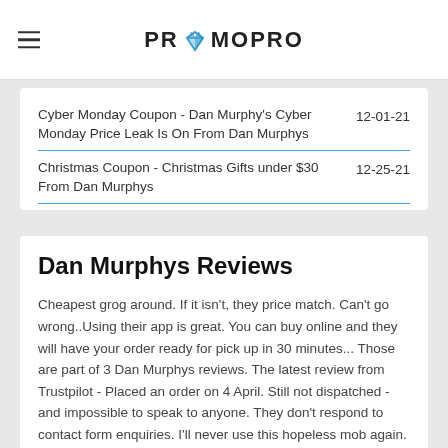PROMOPRO
| Coupon | Date |
| --- | --- |
| Cyber Monday Coupon - Dan Murphy's Cyber Monday Price Leak Is On From Dan Murphys | 12-01-21 |
| Christmas Coupon - Christmas Gifts under $30 From Dan Murphys | 12-25-21 |
Dan Murphys Reviews
Cheapest grog around. If it isn't, they price match. Can't go wrong..Using their app is great. You can buy online and they will have your order ready for pick up in 30 minutes... Those are part of 3 Dan Murphys reviews. The latest review from Trustpilot - Placed an order on 4 April. Still not dispatched - and impossible to speak to anyone. They don't respond to contact form enquiries. I'll never use this hopeless mob again. Chris